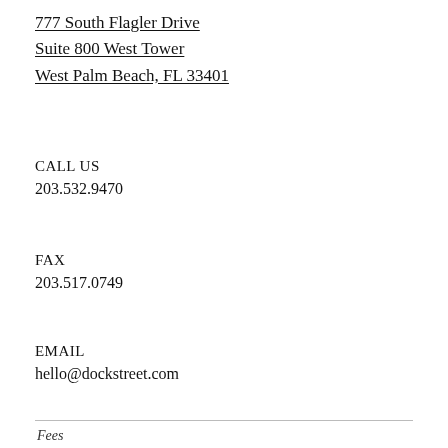777 South Flagler Drive
Suite 800 West Tower
West Palm Beach, FL 33401
CALL US
203.532.9470
FAX
203.517.0749
EMAIL
hello@dockstreet.com
Fees